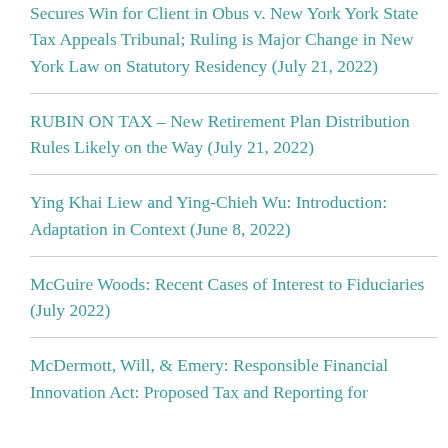Secures Win for Client in Obus v. New York York State Tax Appeals Tribunal; Ruling is Major Change in New York Law on Statutory Residency (July 21, 2022)
RUBIN ON TAX – New Retirement Plan Distribution Rules Likely on the Way (July 21, 2022)
Ying Khai Liew and Ying-Chieh Wu: Introduction: Adaptation in Context (June 8, 2022)
McGuire Woods: Recent Cases of Interest to Fiduciaries (July 2022)
McDermott, Will, & Emery: Responsible Financial Innovation Act: Proposed Tax and Reporting for